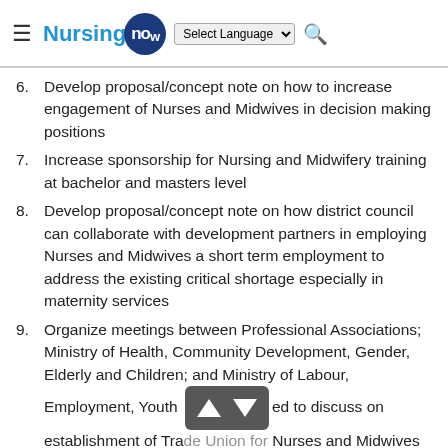Nursing Now — website header with navigation and language select
6. Develop proposal/concept note on how to increase engagement of Nurses and Midwives in decision making positions
7. Increase sponsorship for Nursing and Midwifery training at bachelor and masters level
8. Develop proposal/concept note on how district council can collaborate with development partners in employing Nurses and Midwives a short term employment to address the existing critical shortage especially in maternity services
9. Organize meetings between Professional Associations; Ministry of Health, Community Development, Gender, Elderly and Children; and Ministry of Labour, Employment, Youth and [obscured] to discuss on establishment of Trade Union for Nurses and Midwives